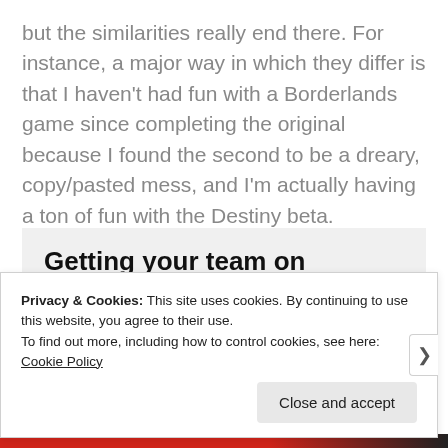but the similarities really end there. For instance, a major way in which they differ is that I haven't had fun with a Borderlands game since completing the original because I found the second to be a dreary, copy/pasted mess, and I'm actually having a ton of fun with the Destiny beta.
[Figure (screenshot): Advertisement banner with bold text reading 'Getting your team on the same page is easy. And free.' and three circular profile photo avatars plus a blue circle with a plus sign.]
Privacy & Cookies: This site uses cookies. By continuing to use this website, you agree to their use.
To find out more, including how to control cookies, see here: Cookie Policy
Close and accept